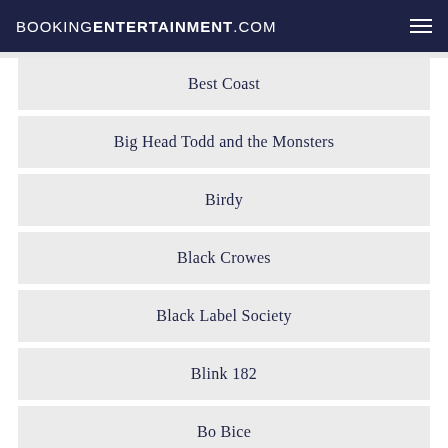BOOKINGENTERTAINMENT.COM
Best Coast
Big Head Todd and the Monsters
Birdy
Black Crowes
Black Label Society
Blink 182
Bo Bice
Body Count
Bowling for Soup